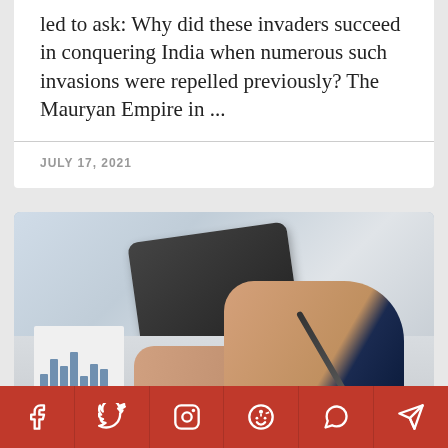led to ask: Why did these invaders succeed in conquering India when numerous such invasions were repelled previously? The Mauryan Empire in ...
JULY 17, 2021
[Figure (photo): A person in a business suit writing with a pen on paper, with a tablet and printed chart documents visible on the desk in the background.]
[Figure (infographic): Social media sharing bar with six buttons: Facebook, Twitter, Instagram, Reddit, WhatsApp, Telegram — all in red with white icons.]